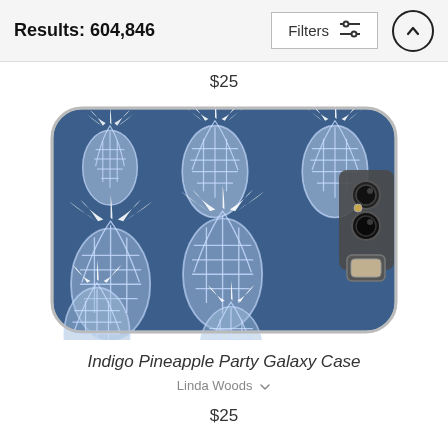Results: 604,846
$25
[Figure (photo): Product photo of a Samsung Galaxy phone case with an indigo blue background featuring a repeating pattern of stylized white pineapples. The case is shown on a Samsung Galaxy S8 phone with rounded corners, with the phone camera visible on the right side.]
Indigo Pineapple Party Galaxy Case
Linda Woods
$25